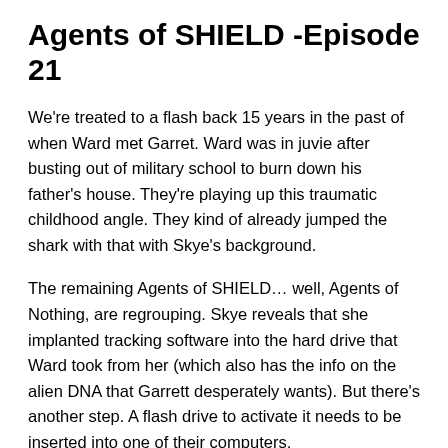Agents of SHIELD -Episode 21
We're treated to a flash back 15 years in the past of when Ward met Garret. Ward was in juvie after busting out of military school to burn down his father's house. They're playing up this traumatic childhood angle. They kind of already jumped the shark with that with Skye's background.
The remaining Agents of SHIELD… well, Agents of Nothing, are regrouping. Skye reveals that she implanted tracking software into the hard drive that Ward took from her (which also has the info on the alien DNA that Garrett desperately wants). But there's another step. A flash drive to activate it needs to be inserted into one of their computers.
So there's a plan with all suggested...